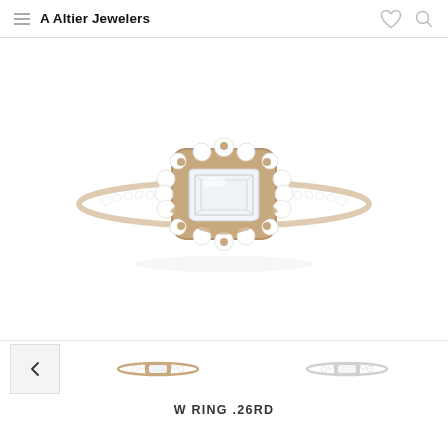A Altier Jewelers
[Figure (photo): A rose gold halo engagement ring featuring a rectangular emerald-cut diamond center stone surrounded by round brilliant diamonds in a square halo setting, with a pavé diamond band, photographed from above on a white background.]
[Figure (photo): Small thumbnail image of the ring showing a side/top view]
[Figure (photo): Small thumbnail image of the ring showing another angle]
W RING .26RD